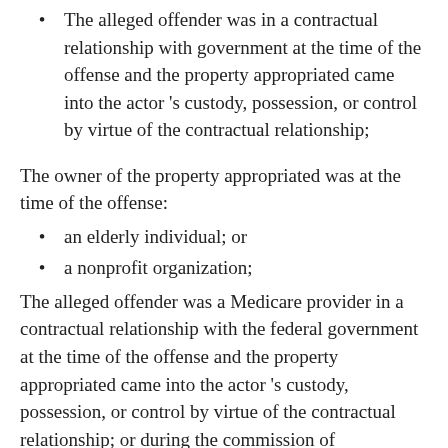The alleged offender was in a contractual relationship with government at the time of the offense and the property appropriated came into the actor 's custody, possession, or control by virtue of the contractual relationship;
The owner of the property appropriated was at the time of the offense:
an elderly individual; or
a nonprofit organization;
The alleged offender was a Medicare provider in a contractual relationship with the federal government at the time of the offense and the property appropriated came into the actor 's custody, possession, or control by virtue of the contractual relationship; or during the commission of